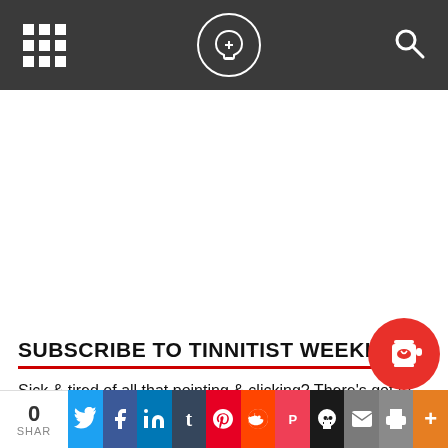Tinnitist navigation bar with grid menu, logo, and search icon
SUBSCRIBE TO TINNITIST WEEKLY
Sick & tired of all that pointing & clicking? There's got to be a better way! Subscribe to Tinnitist via email & save your fingers.
0 SHAR | Twitter | Facebook | LinkedIn | Tumblr | Pinterest | Reddit | Pocket | Skull | Email | Print | More